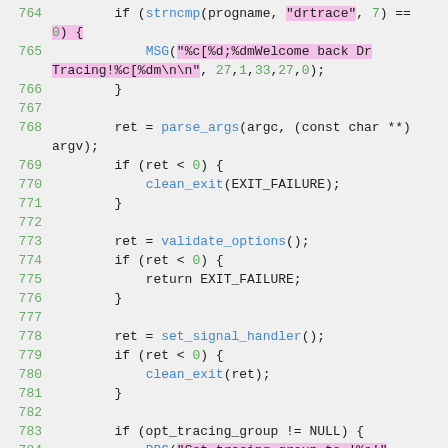[Figure (screenshot): Source code screenshot showing C code lines 764-784 with syntax highlighting. Line numbers in green, function names in blue, string literals highlighted in pink/magenta background, numeric literals in green.]